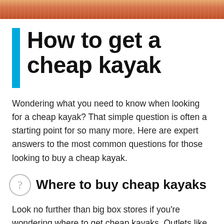[Figure (photo): Partial image of a kayak or outdoor scene with orange/red tones, cropped at the top of the page]
How to get a cheap kayak
Wondering what you need to know when looking for a cheap kayak? That simple question is often a starting point for so many more. Here are expert answers to the most common questions for those looking to buy a cheap kayak.
Where to buy cheap kayaks
Look no further than big box stores if you're wondering where to get cheap kayaks. Outlets like Walmart, Dunham's, Dick's Sporting Goods, Canadian Tire and